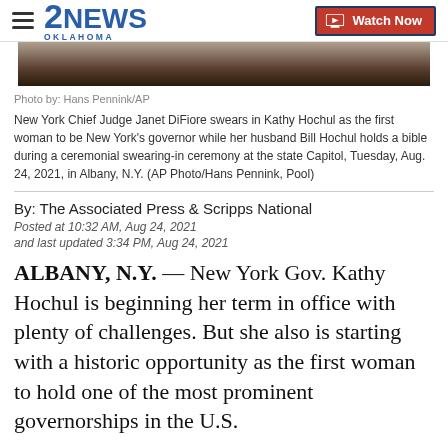2NEWS OKLAHOMA | Watch Now
[Figure (photo): Partial view of photo showing Kathy Hochul swearing-in ceremony]
Photo by: Hans Pennink/AP
New York Chief Judge Janet DiFiore swears in Kathy Hochul as the first woman to be New York's governor while her husband Bill Hochul holds a bible during a ceremonial swearing-in ceremony at the state Capitol, Tuesday, Aug. 24, 2021, in Albany, N.Y. (AP Photo/Hans Pennink, Pool)
By: The Associated Press & Scripps National
Posted at 10:32 AM, Aug 24, 2021
and last updated 3:34 PM, Aug 24, 2021
ALBANY, N.Y. — New York Gov. Kathy Hochul is beginning her term in office with plenty of challenges. But she also is starting with a historic opportunity as the first woman to hold one of the most prominent governorships in the U.S.